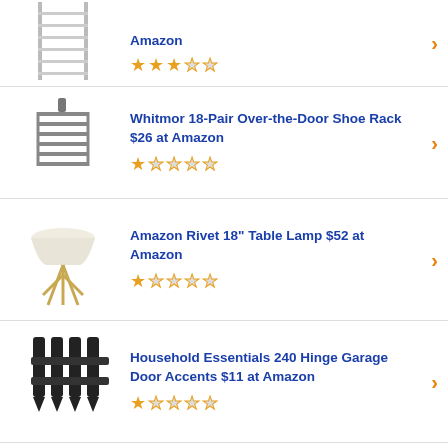[Figure (photo): Shoe rack/shelving unit product image]
Amazon
[Figure (other): 2.5 out of 5 stars rating]
[Figure (photo): Over-the-door shoe rack product image]
Whitmor 18-Pair Over-the-Door Shoe Rack $26 at Amazon
[Figure (other): 1 out of 5 stars rating]
[Figure (photo): Table lamp product image]
Amazon Rivet 18" Table Lamp $52 at Amazon
[Figure (other): 1 out of 5 stars rating]
[Figure (photo): Garage door accents hardware product image]
Household Essentials 240 Hinge Garage Door Accents $11 at Amazon
[Figure (other): 1 out of 5 stars rating]
[Figure (photo): Fire ring product image]
Pleasant Hearth Square Solid Steel Fire Ring $104 at Amazon